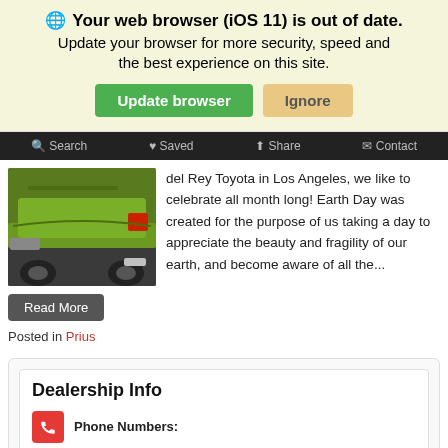🌐 Your web browser (iOS 11) is out of date. Update your browser for more security, speed and the best experience on this site. Update browser | Ignore
🔍 Search  ♥ Saved  Share  Contact
[Figure (photo): Rear view of a green Toyota Prius car]
del Rey Toyota in Los Angeles, we like to celebrate all month long! Earth Day was created for the purpose of us taking a day to appreciate the beauty and fragility of our earth, and become aware of all the...
Read More
Posted in Prius
Dealership Info
Phone Numbers:
Main: